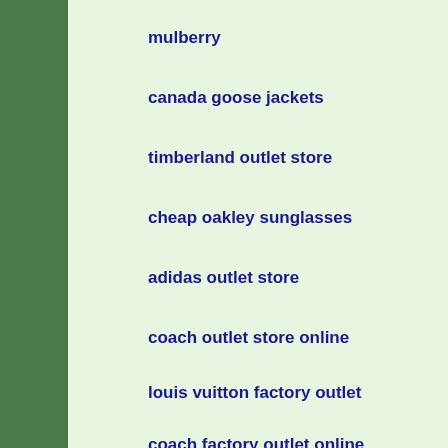mulberry
canada goose jackets
timberland outlet store
cheap oakley sunglasses
adidas outlet store
coach outlet store online
louis vuitton factory outlet
coach factory outlet online